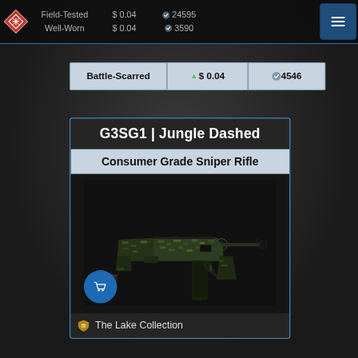Field-Tested $0.04 24595 | Well-Worn $0.04 3590
| Wear | Price | Count |
| --- | --- | --- |
| Battle-Scarred | $ 0.04 | 4546 |
G3SG1 | Jungle Dashed
Consumer Grade Sniper Rifle
[Figure (photo): G3SG1 Jungle Dashed sniper rifle with green jungle camouflage pattern and scope]
The Lake Collection